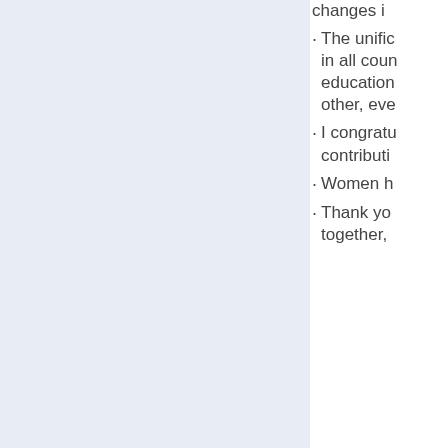changes i
The unific in all coun education other, eve
I congratu contributi
Women h
Thank yo together,
If you find th Your donati improved re world.

UPE is a 501